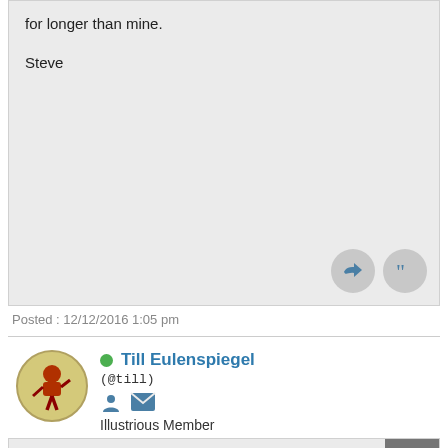for longer than mine.
Steve
Posted : 12/12/2016 1:05 pm
Till Eulenspiegel
(@till)
Illustrious Member
A high voltage pulse derived from a winding on the line output transformer is clipped and clamped by the diodes 8D4 and 8D5 and fed via the power board (for some reason) to the RGB amplifiers. The pulse serves to set the black level reference level during the back porch period. Thus, no pulse = uncontrollable brightness.